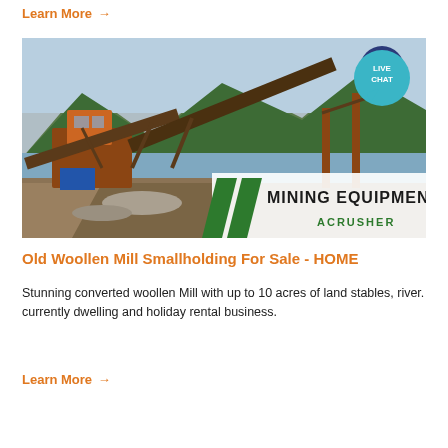Learn More →
[Figure (photo): Mining equipment / dredger machine near a river with mountains in background. Overlay shows 'MINING EQUIPMENT ACRUSHER' branding and a 'LIVE CHAT' speech bubble badge.]
Old Woollen Mill Smallholding For Sale - HOME
Stunning converted woollen Mill with up to 10 acres of land stables, river. currently dwelling and holiday rental business.
Learn More →